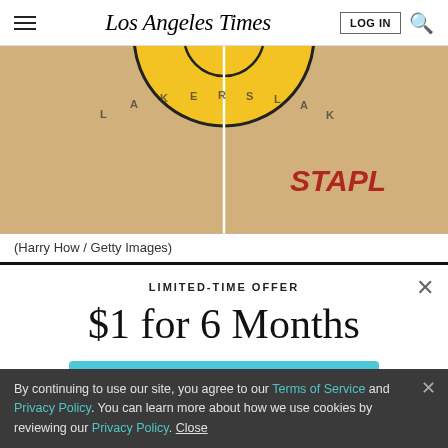Los Angeles Times | LOG IN | Search
[Figure (photo): Aerial/overhead view of a basketball court (NBA hardwood floor), showing the center circle with a yellow/gold design, sideline markings, and partial red lettering on the floor. The image is cropped to show the upper portion of the court.]
(Harry How / Getty Images)
LIMITED-TIME OFFER
$1 for 6 Months
SUBSCRIBE NOW
By continuing to use our site, you agree to our Terms of Service and Privacy Policy. You can learn more about how we use cookies by reviewing our Privacy Policy. Close